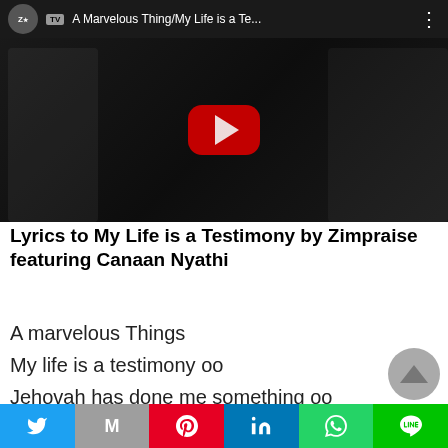[Figure (screenshot): YouTube video thumbnail showing 'A Marvelous Thing/My Life is a Te...' by ZimPraise TV with dark background and red YouTube play button]
Lyrics to My Life is a Testimony by Zimpraise featuring Canaan Nyathi
A marvelous Things
My life is a testimony oo
Jehovah has done me something oo
My life is a testimony oo
[Figure (other): Social media share bar with Twitter, Gmail, Pinterest, LinkedIn, WhatsApp, and LINE buttons]